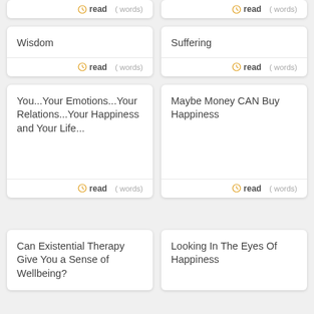read ( words)
read ( words)
Wisdom
read ( words)
Suffering
read ( words)
You...Your Emotions...Your Relations...Your Happiness and Your Life...
read ( words)
Maybe Money CAN Buy Happiness
read ( words)
Can Existential Therapy Give You a Sense of Wellbeing?
Looking In The Eyes Of Happiness